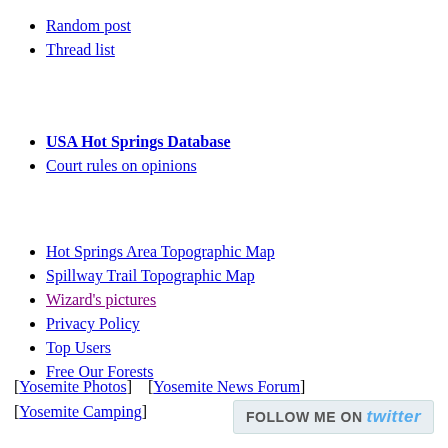Random post
Thread list
USA Hot Springs Database
Court rules on opinions
Hot Springs Area Topographic Map
Spillway Trail Topographic Map
Wizard's pictures
Privacy Policy
Top Users
Free Our Forests
[Yosemite Photos]    [Yosemite News Forum]
[Yosemite Camping]
[Figure (other): Follow me on Twitter badge button]